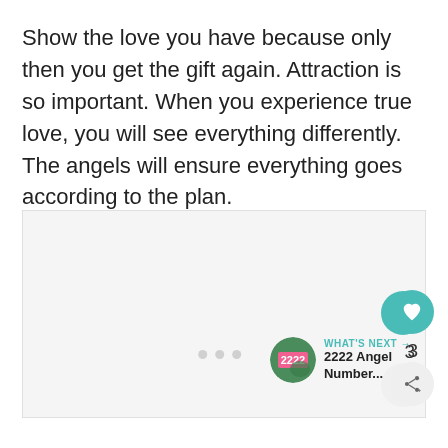Show the love you have because only then you get the gift again. Attraction is so important. When you experience true love, you will see everything differently. The angels will ensure everything goes according to the plan.
[Figure (other): A light gray image area placeholder with social interaction buttons (heart/like button with count of 3, share button) and a 'What's Next' navigation widget showing a 2222 Angel Number article thumbnail.]